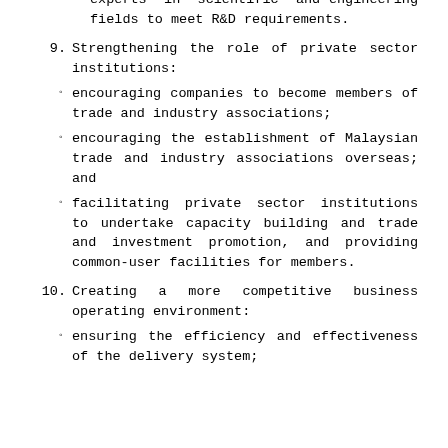experts in scientific and engineering fields to meet R&D requirements.
9. Strengthening the role of private sector institutions:
encouraging companies to become members of trade and industry associations;
encouraging the establishment of Malaysian trade and industry associations overseas; and
facilitating private sector institutions to undertake capacity building and trade and investment promotion, and providing common-user facilities for members.
10. Creating a more competitive business operating environment:
ensuring the efficiency and effectiveness of the delivery system;